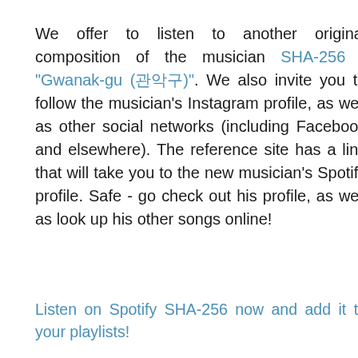We offer to listen to another original composition of the musician SHA-256 - "Gwanak-gu (관악구)". We also invite you to follow the musician's Instagram profile, as well as other social networks (including Facebook and elsewhere). The reference site has a link that will take you to the new musician's Spotify profile. Safe - go check out his profile, as well as look up his other songs online!
Listen on Spotify SHA-256 now and add it to your playlists!
mdma7.com
YOU MAY LIKE THESE POSTS